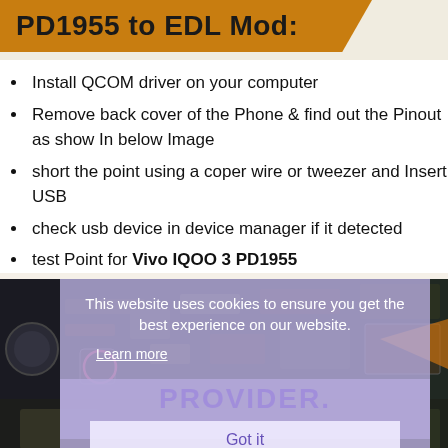PD1955 to EDL Mod:
Install QCOM driver on your computer
Remove back cover of the Phone & find out the Pinout as show In below Image
short the point using a coper wire or tweezer and Insert USB
check usb device in device manager if it detected
test Point for Vivo IQOO 3 PD1955
[Figure (photo): PCB/motherboard photo of Vivo IQOO 3 PD1955 with a cookie consent overlay showing 'This website uses cookies to ensure you get the best experience on our website. Learn more' and a 'Got it' button, and a watermark reading 'PROVIDER.']